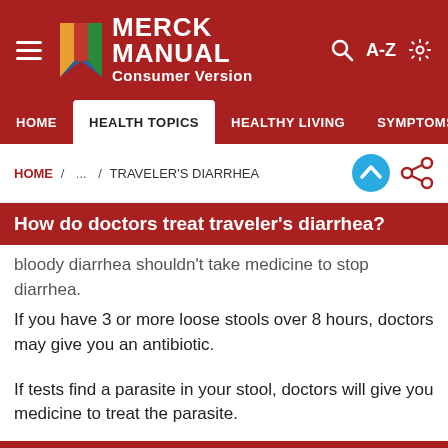MERCK MANUAL Consumer Version
HOME / ... / TRAVELER'S DIARRHEA
How do doctors treat traveler's diarrhea?
bloody diarrhea shouldn't take medicine to stop diarrhea.
If you have 3 or more loose stools over 8 hours, doctors may give you an antibiotic.
If tests find a parasite in your stool, doctors will give you medicine to treat the parasite.
How can I prevent traveler's diarrhea?
Eat and drink only in restaurants known to have safe